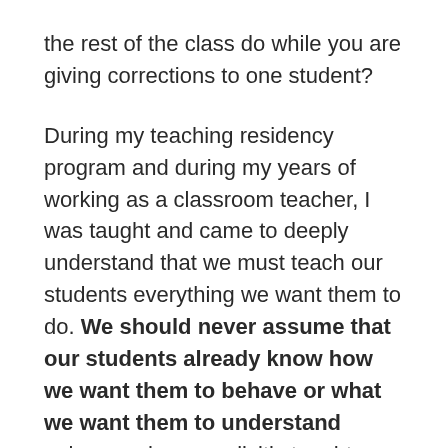the rest of the class do while you are giving corrections to one student?
During my teaching residency program and during my years of working as a classroom teacher, I was taught and came to deeply understand that we must teach our students everything we want them to do. We should never assume that our students already know how we want them to behave or what we want them to understand unless we have explicitly taught them in many different ways, reviewed our